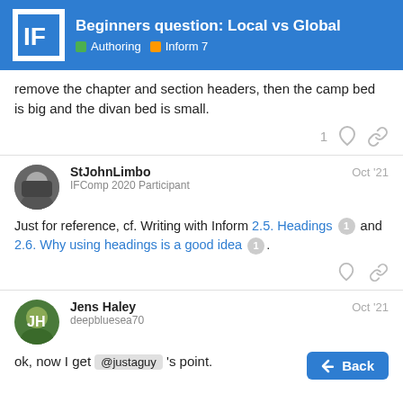Beginners question: Local vs Global | Authoring | Inform 7
remove the chapter and section headers, then the camp bed is big and the divan bed is small.
StJohnLimbo Oct '21 IFComp 2020 Participant
Just for reference, cf. Writing with Inform 2.5. Headings 1 and 2.6. Why using headings is a good idea 1.
Jens Haley Oct '21 deepbluesea70
ok, now I get @justaguy 's point.
Still, bed isn't really local to Chapter 2, it's